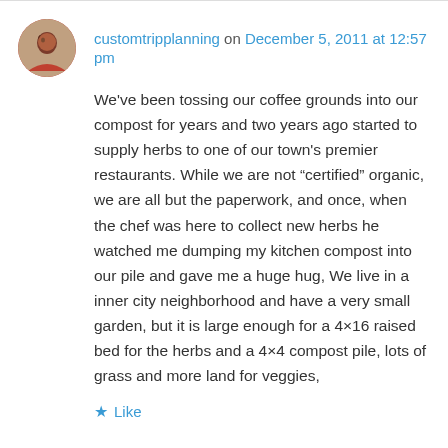customtripplanning on December 5, 2011 at 12:57 pm
We've been tossing our coffee grounds into our compost for years and two years ago started to supply herbs to one of our town's premier restaurants. While we are not “certified” organic, we are all but the paperwork, and once, when the chef was here to collect new herbs he watched me dumping my kitchen compost into our pile and gave me a huge hug, We live in a inner city neighborhood and have a very small garden, but it is large enough for a 4×16 raised bed for the herbs and a 4×4 compost pile, lots of grass and more land for veggies,
★ Like